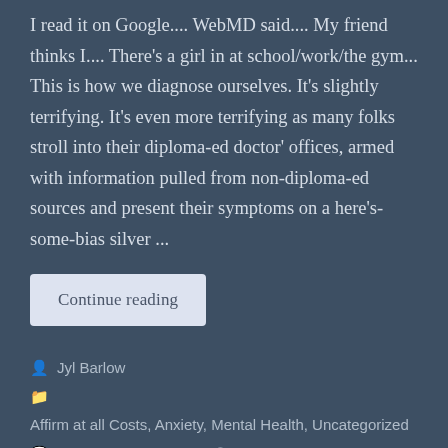I read it on Google.... WebMD said.... My friend thinks I.... There's a girl in at school/work/the gym... This is how we diagnose ourselves. It's slightly terrifying. It's even more terrifying as many folks stroll into their diploma-ed doctor' offices, armed with information pulled from non-diploma-ed sources and present their symptoms on a here's-some-bias silver ...
Continue reading
Jyl Barlow
Affirm at all Costs, Anxiety, Mental Health, Uncategorized
Leave a comment   January 18, 2021
9 Minutes